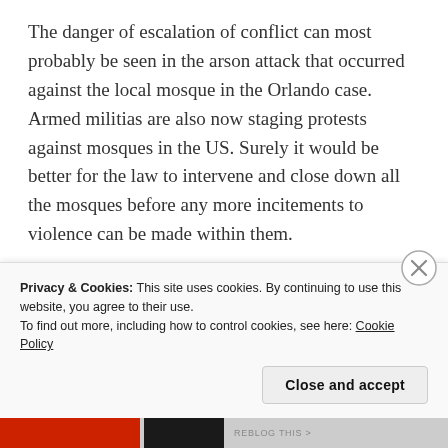The danger of escalation of conflict can most probably be seen in the arson attack that occurred against the local mosque in the Orlando case. Armed militias are also now staging protests against mosques in the US. Surely it would be better for the law to intervene and close down all the mosques before any more incitements to violence can be made within them.
A PROPOSAL TO “BAN” ISLAM
Obviously it would be impossible to ban religious thought. We can scarcely start arresting every
Privacy & Cookies: This site uses cookies. By continuing to use this website, you agree to their use.
To find out more, including how to control cookies, see here: Cookie Policy
Close and accept